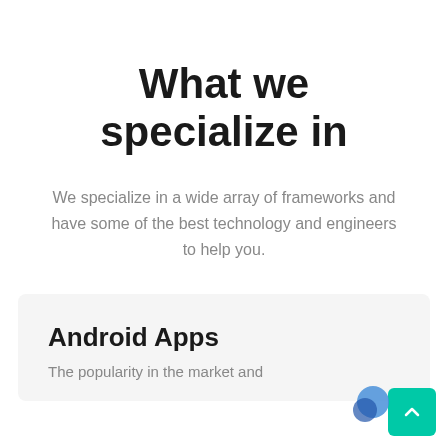What we specialize in
We specialize in a wide array of frameworks and have some of the best technology and engineers to help you.
Android Apps
The popularity in the market and